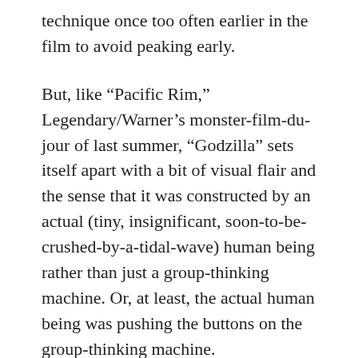technique once too often earlier in the film to avoid peaking early.
But, like “Pacific Rim,” Legendary/Warner’s monster-film-du-jour of last summer, “Godzilla” sets itself apart with a bit of visual flair and the sense that it was constructed by an actual (tiny, insignificant, soon-to-be-crushed-by-a-tidal-wave) human being rather than just a group-thinking machine. Or, at least, the actual human being was pushing the buttons on the group-thinking machine.
Now playing in theaters.
Verdict: 3 out of 4 stars